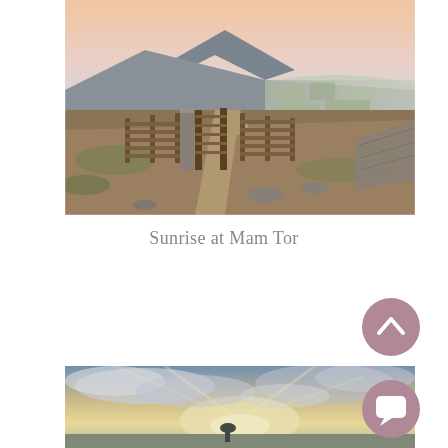[Figure (photo): Landscape photograph of a hilltop with a wooden gate/fence on a ridge path, mountain in background under a pink and blue sunrise sky at Mam Tor, Peak District.]
Sunrise at Mam Tor
[Figure (illustration): Scroll-up / back-to-top button: circular mauve/dusty rose button with a white upward chevron arrow.]
[Figure (photo): Partial landscape photograph showing a dramatic cloudy sky with sun breaking through, landscape below, partially visible.]
[Figure (illustration): Chat / message button: circular mauve/dusty rose button with a white speech bubble icon.]